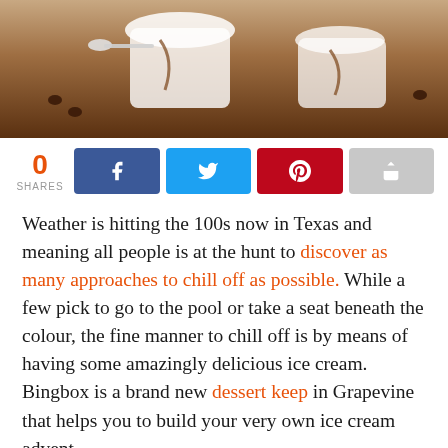[Figure (photo): Top portion of a food/dessert photo showing ice cream or tiramisu in glasses with coffee beans on a brown background]
0 SHARES
[Figure (infographic): Social sharing buttons row: Facebook (blue), Twitter (light blue), Pinterest (red), Share (grey)]
Weather is hitting the 100s now in Texas and meaning all people is at the hunt to discover as many approaches to chill off as possible. While a few pick to go to the pool or take a seat beneath the colour, the fine manner to chill off is by means of having some amazingly delicious ice cream. Bingbox is a brand new dessert keep in Grapevine that helps you to build your very own ice cream advent.
[Figure (photo): Bottom food photo showing a glass bowl of dessert with brown powdered topping and coffee beans on a brown background]